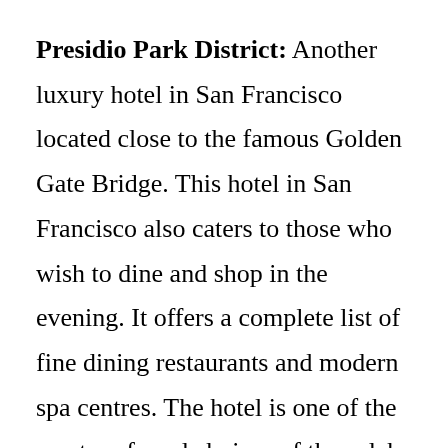Presidio Park District: Another luxury hotel in San Francisco located close to the famous Golden Gate Bridge. This hotel in San Francisco also caters to those who wish to dine and shop in the evening. It offers a complete list of fine dining restaurants and modern spa centres. The hotel is one of the most preferred choices of the celebs and has been featured in the best hotels near golden gate bridge on television. The hotel offers a shuttle service to ferry guests from the